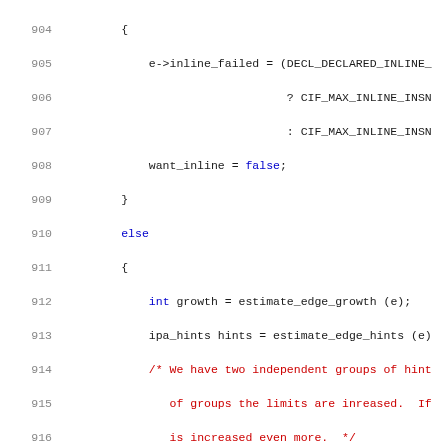Source code listing, lines 904-924, showing C/C++ inline estimation logic